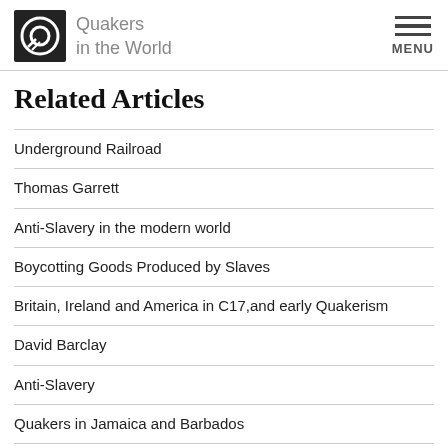Quakers in the World
Related Articles
Underground Railroad
Thomas Garrett
Anti-Slavery in the modern world
Boycotting Goods Produced by Slaves
Britain, Ireland and America in C17,and early Quakerism
David Barclay
Anti-Slavery
Quakers in Jamaica and Barbados
Levi Coffin
Anti-Slavery in Britain
Anti-Slavery: Raising the Moral Issue